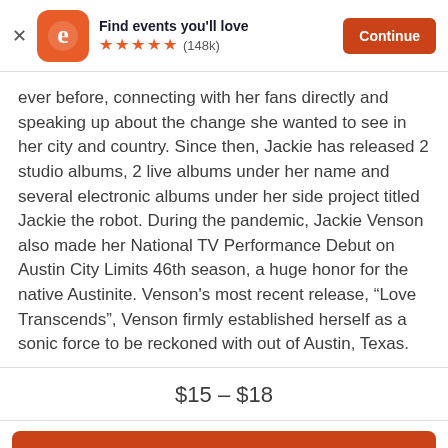[Figure (screenshot): Eventbrite app banner with logo, title 'Find events you'll love', 5 orange stars rating with (148k) reviews, and an orange 'Continue' button]
ever before, connecting with her fans directly and speaking up about the change she wanted to see in her city and country. Since then, Jackie has released 2 studio albums, 2 live albums under her name and several electronic albums under her side project titled Jackie the robot. During the pandemic, Jackie Venson also made her National TV Performance Debut on Austin City Limits 46th season, a huge honor for the native Austinite. Venson’s most recent release, “Love Transcends”, Venson firmly established herself as a sonic force to be reckoned with out of Austin, Texas.
$15 – $18
Tickets